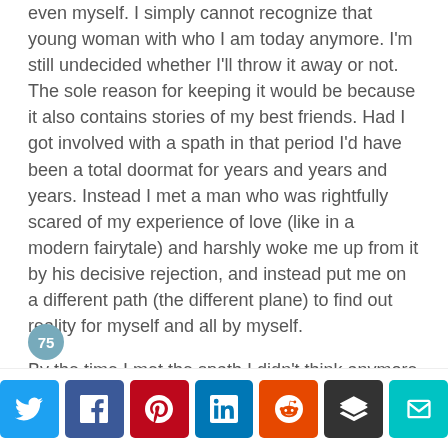even myself. I simply cannot recognize that young woman with who I am today anymore. I'm still undecided whether I'll throw it away or not. The sole reason for keeping it would be because it also contains stories of my best friends. Had I got involved with a spath in that period I'd have been a total doormat for years and years and years. Instead I met a man who was rightfully scared of my experience of love (like in a modern fairytale) and harshly woke me up from it by his decisive rejection, and instead put me on a different path (the different plane) to find out reality for myself and all by myself.

By the time I met the spath I didn't think anymore as I did ten years before that. He still conned me, but I didn't believe in romantic fairytales anymore. And while he bonded me, he did not evoke such strong feelings in me as the man of my past who had
[Figure (other): Social share buttons: Twitter, Facebook, Pinterest, LinkedIn, Reddit, Buffer, Email]